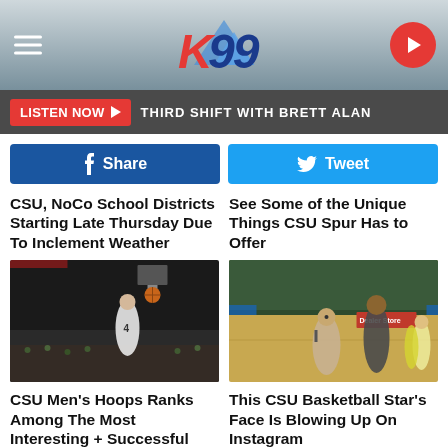[Figure (logo): K99 radio station logo header with hamburger menu and play button]
LISTEN NOW ► THIRD SHIFT WITH BRETT ALAN
[Figure (infographic): Facebook Share button and Twitter Tweet button]
CSU, NoCo School Districts Starting Late Thursday Due To Inclement Weather
See Some of the Unique Things CSU Spur Has to Offer
[Figure (photo): Basketball player dunking in arena]
[Figure (photo): CSU basketball player on court with interviewer]
CSU Men's Hoops Ranks Among The Most Interesting + Successful Teams In The...
This CSU Basketball Star's Face Is Blowing Up On Instagram